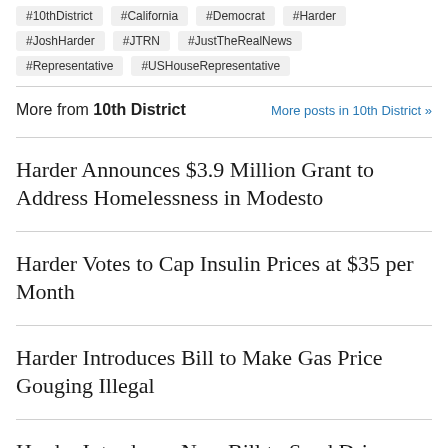#10thDistrict
#California
#Democrat
#Harder
#JoshHarder
#JTRN
#JustTheRealNews
#Representative
#USHouseRepresentative
More from 10th District
More posts in 10th District »
Harder Announces $3.9 Million Grant to Address Homelessness in Modesto
Harder Votes to Cap Insulin Prices at $35 per Month
Harder Introduces Bill to Make Gas Price Gouging Illegal
Harder Introduces New Bill to Send Drivers $500 Gas Price Rebate Checks